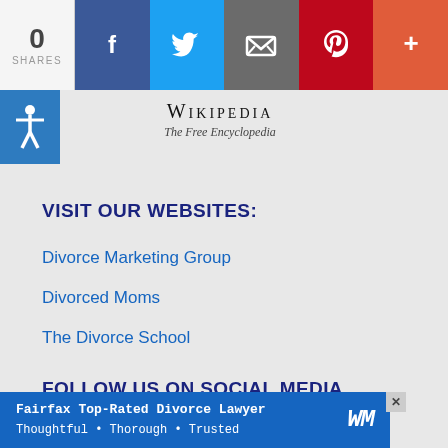0 SHARES | Facebook | Twitter | Email | Pinterest | More
[Figure (logo): Wikipedia - The Free Encyclopedia logo]
VISIT OUR WEBSITES:
Divorce Marketing Group
Divorced Moms
The Divorce School
FOLLOW US ON SOCIAL MEDIA
[Figure (infographic): Social media icons: Facebook, Twitter, Pinterest, LinkedIn, Instagram]
Fairfax Top-Rated Divorce Lawyer Thoughtful • Thorough • Trusted